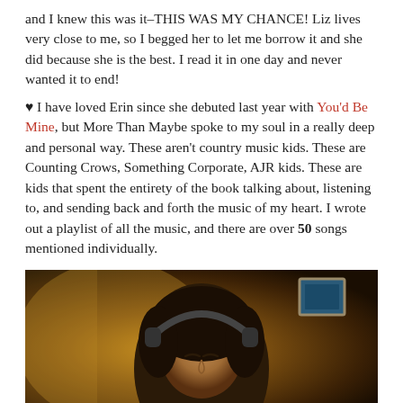and I knew this was it–THIS WAS MY CHANCE! Liz lives very close to me, so I begged her to let me borrow it and she did because she is the best. I read it in one day and never wanted it to end!
♥ I have loved Erin since she debuted last year with You'd Be Mine, but More Than Maybe spoke to my soul in a really deep and personal way. These aren't country music kids. These are Counting Crows, Something Corporate, AJR kids. These are kids that spent the entirety of the book talking about, listening to, and sending back and forth the music of my heart. I wrote out a playlist of all the music, and there are over 50 songs mentioned individually.
[Figure (photo): A person with dark hair wearing headphones, photographed in a warm amber/golden-toned room with a framed picture visible on the wall in the background.]